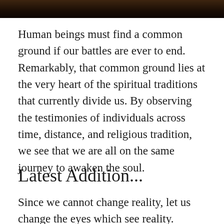[Figure (photo): Dark photograph strip at the top of the page, showing a dimly lit scene with warm brown and dark tones]
Human beings must find a common ground if our battles are ever to end. Remarkably, that common ground lies at the very heart of the spiritual traditions that currently divide us. By observing the testimonies of individuals across time, distance, and religious tradition, we see that we are all on the same journey to awaken the soul.
Latest Addition...
Since we cannot change reality, let us change the eyes which see reality.